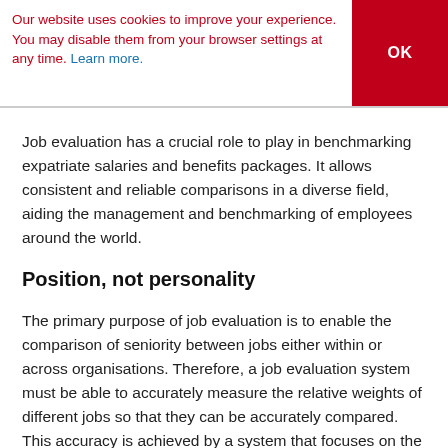Our website uses cookies to improve your experience. You may disable them from your browser settings at any time. Learn more.
OK
Job evaluation has a crucial role to play in benchmarking expatriate salaries and benefits packages. It allows consistent and reliable comparisons in a diverse field, aiding the management and benchmarking of employees around the world.
Position, not personality
The primary purpose of job evaluation is to enable the comparison of seniority between jobs either within or across organisations. Therefore, a job evaluation system must be able to accurately measure the relative weights of different jobs so that they can be accurately compared. This accuracy is achieved by a system that focuses on the position, rather than the personality, of an employee. It ignores any elements relating to the identity